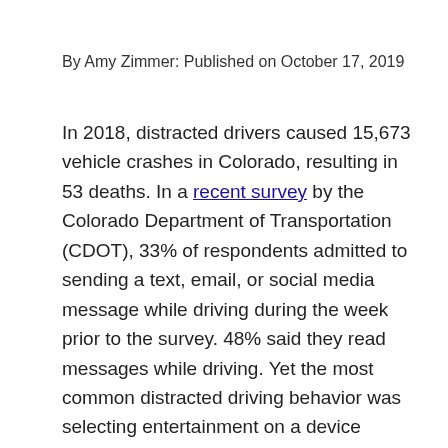By Amy Zimmer: Published on October 17, 2019
In 2018, distracted drivers caused 15,673 vehicle crashes in Colorado, resulting in 53 deaths. In a recent survey by the Colorado Department of Transportation (CDOT), 33% of respondents admitted to sending a text, email, or social media message while driving during the week prior to the survey. 48% said they read messages while driving. Yet the most common distracted driving behavior was selecting entertainment on a device (71%). Eating food was also high on the list of distractions (65%). Other common distractions included entering information into a map